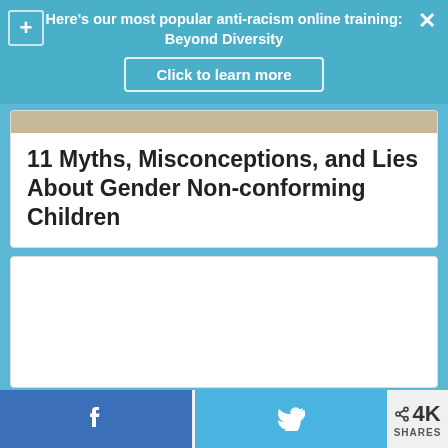Here's our most popular anti-racism online training: Beyond Diversity
Click to learn more
11 Myths, Misconceptions, and Lies About Gender Non-conforming Children
[Figure (other): White content card placeholder image area]
4K SHARES